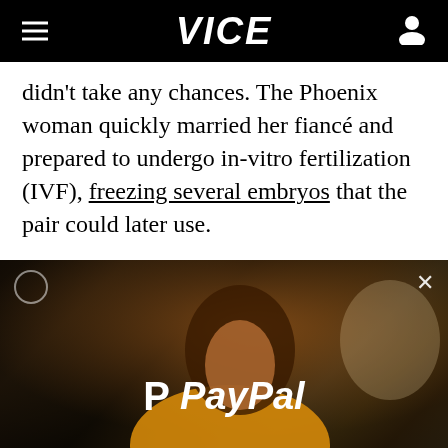VICE
didn't take any chances. The Phoenix woman quickly married her fiancé and prepared to undergo in-vitro fertilization (IVF), freezing several embryos that the pair could later use.
Torres survived her treatment. Her marriage didn't. And her ex-husband, who filed for divorce in 2016, no longer wanted to use the still-frozen embryos.
[Figure (photo): PayPal advertisement overlay with a woman with curly hair wearing a yellow sweater, with the PayPal logo displayed prominently in white text]